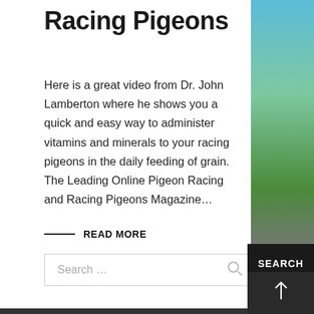Racing Pigeons
Here is a great video from Dr. John Lamberton where he shows you a quick and easy way to administer vitamins and minerals to your racing pigeons in the daily feeding of grain. The Leading Online Pigeon Racing and Racing Pigeons Magazine…
READ MORE
[Figure (screenshot): Search bar with placeholder text 'Search ...' and a magnifying glass icon, alongside a dark SEARCH button and a scroll-to-top arrow button]